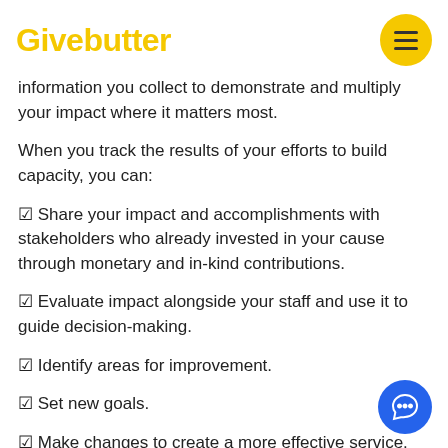Givebutter
information you collect to demonstrate and multiply your impact where it matters most.
When you track the results of your efforts to build capacity, you can:
✅ Share your impact and accomplishments with stakeholders who already invested in your cause through monetary and in-kind contributions.
✅ Evaluate impact alongside your staff and use it to guide decision-making.
✅ Identify areas for improvement.
✅ Set new goals.
✅ Make changes to create a more effective service.